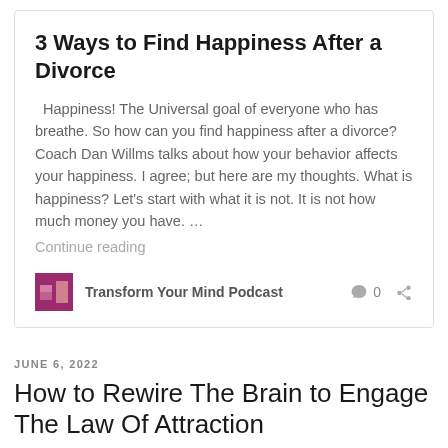3 Ways to Find Happiness After a Divorce
Happiness! The Universal goal of everyone who has breathe. So how can you find happiness after a divorce? Coach Dan Willms talks about how your behavior affects your happiness. I agree; but here are my thoughts. What is happiness? Let's start with what it is not. It is not how much money you have. …
Continue reading
Transform Your Mind Podcast   0
JUNE 6, 2022
How to Rewire The Brain to Engage The Law Of Attraction